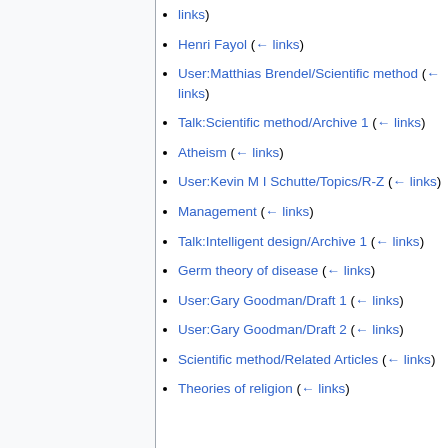← links)
Henri Fayol  (← links)
User:Matthias Brendel/Scientific method  (← links)
Talk:Scientific method/Archive 1  (← links)
Atheism  (← links)
User:Kevin M I Schutte/Topics/R-Z  (← links)
Management  (← links)
Talk:Intelligent design/Archive 1  (← links)
Germ theory of disease  (← links)
User:Gary Goodman/Draft 1  (← links)
User:Gary Goodman/Draft 2  (← links)
Scientific method/Related Articles  (← links)
Theories of religion  (← links)